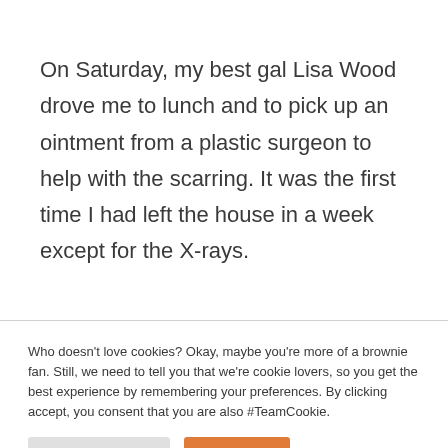On Saturday, my best gal Lisa Wood drove me to lunch and to pick up an ointment from a plastic surgeon to help with the scarring. It was the first time I had left the house in a week except for the X-rays.
Who doesn't love cookies? Okay, maybe you're more of a brownie fan. Still, we need to tell you that we're cookie lovers, so you get the best experience by remembering your preferences. By clicking accept, you consent that you are also #TeamCookie.